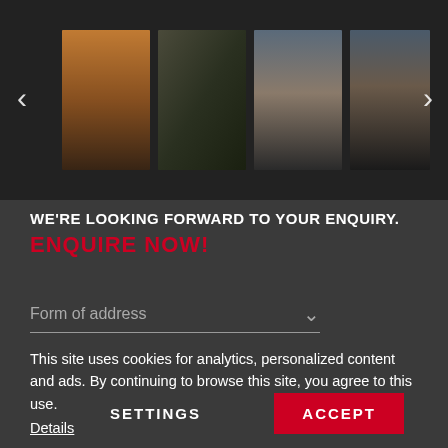[Figure (photo): Carousel with four blurred landscape/sunset thumbnail images and left/right navigation arrows on a dark background]
WE'RE LOOKING FORWARD TO YOUR ENQUIRY.
ENQUIRE NOW!
Form of address
This site uses cookies for analytics, personalized content and ads. By continuing to browse this site, you agree to this use.
Details
SETTINGS
ACCEPT